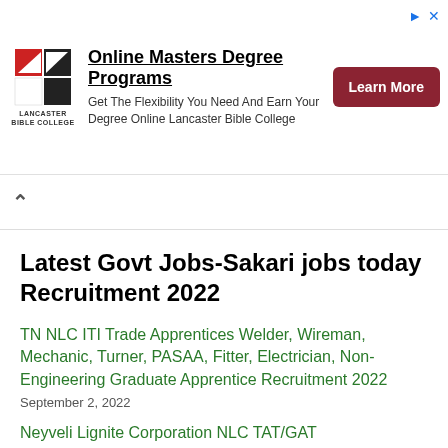[Figure (other): Lancaster Bible College ad banner with logo, text about Online Masters Degree Programs, and a Learn More button]
Latest Govt Jobs-Sakari jobs today Recruitment 2022
TN NLC ITI Trade Apprentices Welder, Wireman, Mechanic, Turner, PASAA, Fitter, Electrician, Non-Engineering Graduate Apprentice Recruitment 2022
September 2, 2022
Neyveli Lignite Corporation NLC TAT/GAT Technician/Graduate Apprentice Trainee Recruitment Notification 2022 77 Vacancies
September 2, 2022